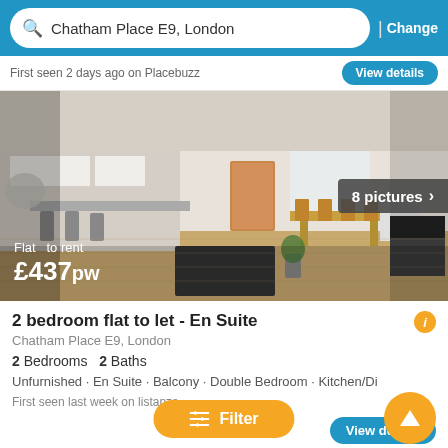Chatham Place E9, London | Change
First seen 2 days ago on Placebuzz
[Figure (photo): Interior photo of a modern open-plan flat with kitchen, dining area, and living room. Shows £437pw price and 8 pictures badge.]
2 bedroom flat to let - En Suite
Chatham Place E9, London
2 Bedrooms  2 Baths
Unfurnished · En Suite · Balcony · Double Bedroom · Kitchen/Diner
First seen last week on listanza